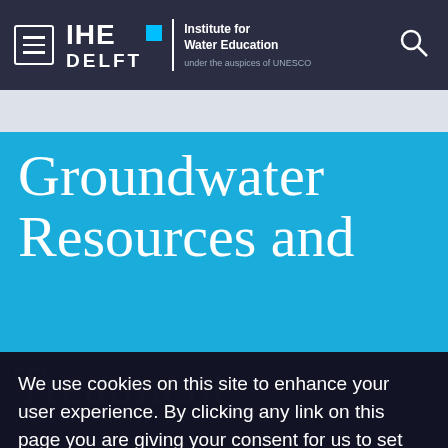IHE DELFT — Institute for Water Education — under the auspices of UNESCO
Groundwater Resources and Treatment
We use cookies on this site to enhance your user experience. By clicking any link on this page you are giving your consent for us to set cookies.
Yes, I agree
No, I want to find out more
this course is to acquaint the participants with the practical and practical knowledge, field experience, and innovations